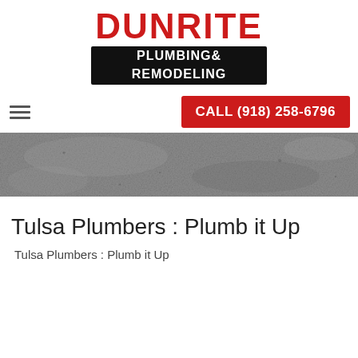[Figure (logo): Dunrite Plumbing & Remodeling logo with red text 'DUNRITE' above and white text 'PLUMBING & REMODELING' on black background]
CALL (918) 258-6796
[Figure (photo): Gray concrete textured background banner]
Tulsa Plumbers : Plumb it Up
Tulsa Plumbers : Plumb it Up